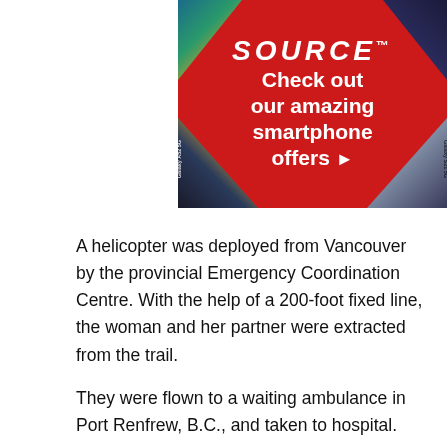[Figure (advertisement): The Source advertisement banner: red diamond background with corner phone images, text reads 'SOURCE™ Check out our amazing smartphone offers ▶', showing Samsung Galaxy A52 5G and Samsung Galaxy S21 5G phones in corners]
A helicopter was deployed from Vancouver by the provincial Emergency Coordination Centre. With the help of a 200-foot fixed line, the woman and her partner were extracted from the trail.
They were flown to a waiting ambulance in Port Renfrew, B.C., and taken to hospital.